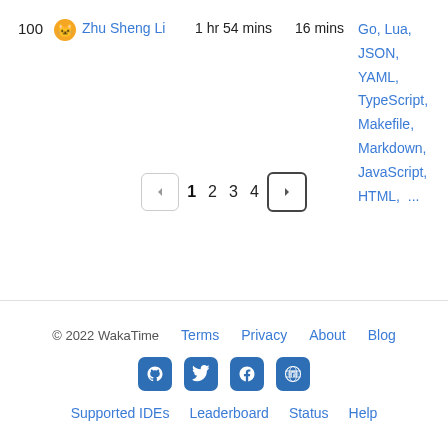100  Zhu Sheng Li  1 hr 54 mins  16 mins  Go, Lua, JSON, YAML, TypeScript, Makefile, Markdown, JavaScript, HTML, ...
1 2 3 4 (pagination)
© 2022 WakaTime  Terms  Privacy  About  Blog  [GitHub] [Twitter] [Facebook] [Reddit]  Supported IDEs  Leaderboard  Status  Help